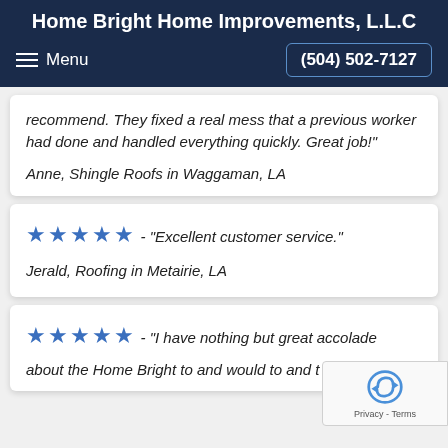Home Bright Home Improvements, L.L.C
recommend. They fixed a real mess that a previous worker had done and handled everything quickly. Great job!"
Anne, Shingle Roofs in Waggaman, LA
★★★★★ - "Excellent customer service."
Jerald, Roofing in Metairie, LA
★★★★★ - "I have nothing but great accolades about the Home Bright..."